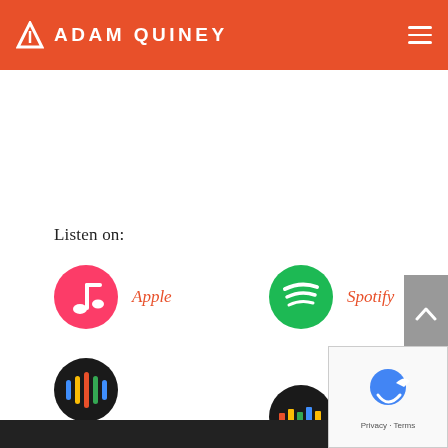ADAM QUINEY
Listen on:
[Figure (logo): Apple Podcasts icon – pink circle with white music note]
Apple
[Figure (logo): Spotify icon – green circle with white sound waves]
Spotify
[Figure (logo): Google Podcasts icon – dark circle with colorful vertical bars]
Google Podcasts
[Figure (logo): Stitcher icon – dark circle with colorful horizontal bars]
Stitcher